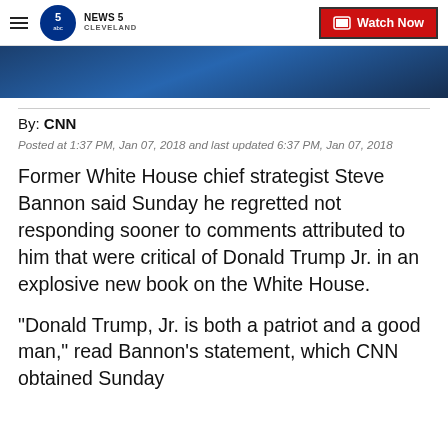NEWS 5 CLEVELAND — Watch Now
[Figure (photo): Dark blue toned partial photo, bottom portion of an image visible at the top of the article]
By: CNN
Posted at 1:37 PM, Jan 07, 2018 and last updated 6:37 PM, Jan 07, 2018
Former White House chief strategist Steve Bannon said Sunday he regretted not responding sooner to comments attributed to him that were critical of Donald Trump Jr. in an explosive new book on the White House.
"Donald Trump, Jr. is both a patriot and a good man," read Bannon's statement, which CNN obtained Sunday